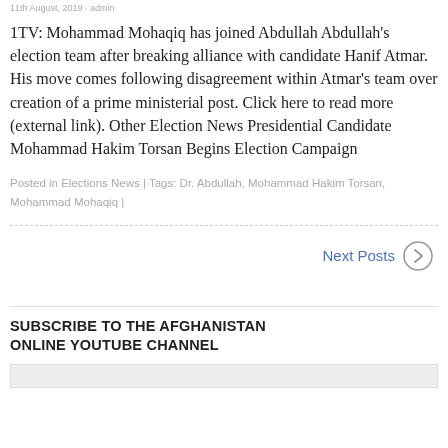11th August, 2019 · admin
1TV: Mohammad Mohaqiq has joined Abdullah Abdullah's election team after breaking alliance with candidate Hanif Atmar. His move comes following disagreement within Atmar's team over creation of a prime ministerial post. Click here to read more (external link). Other Election News Presidential Candidate Mohammad Hakim Torsan Begins Election Campaign
Posted in Elections News | Tags: Dr. Abdullah, Mohammad Hakim Torsan, Mohammad Mohaqiq |
Next Posts
SUBSCRIBE TO THE AFGHANISTAN ONLINE YOUTUBE CHANNEL